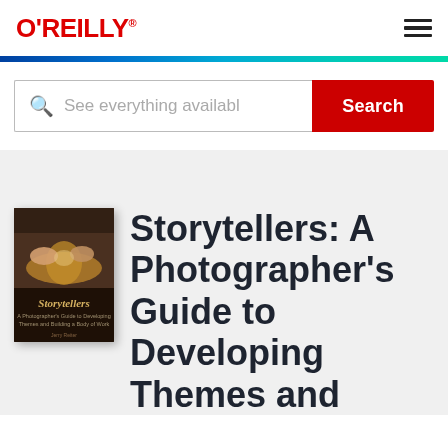O'REILLY
[Figure (screenshot): O'Reilly learning platform search bar with text 'See everything availabl' and a red Search button]
[Figure (photo): Book cover of 'Storytellers' showing hands working with clay on a potter's wheel]
Storytellers: A Photographer's Guide to Developing Themes and